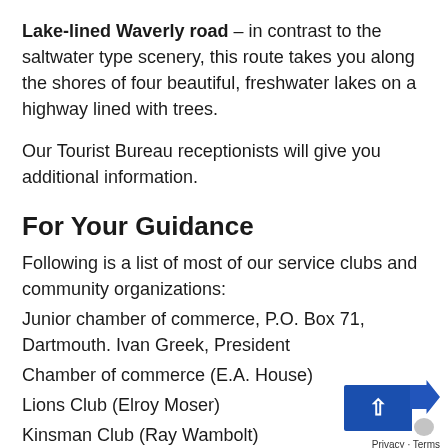Lake-lined Waverly road – in contrast to the saltwater type scenery, this route takes you along the shores of four beautiful, freshwater lakes on a highway lined with trees.
Our Tourist Bureau receptionists will give you additional information.
For Your Guidance
Following is a list of most of our service clubs and community organizations:
Junior chamber of commerce, P.O. Box 71, Dartmouth. Ivan Greek, President
Chamber of commerce (E.A. House)
Lions Club (Elroy Moser)
Kinsman Club (Ray Wambolt)
Kiwanis Club (Gary Low)